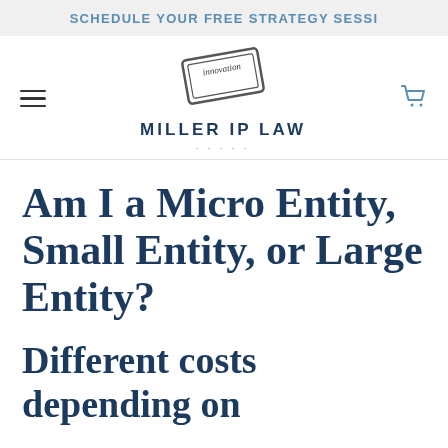SCHEDULE YOUR FREE STRATEGY SESSI
[Figure (logo): Miller IP Law logo with a tilted stamp graphic reading 'innovation' and bold text MILLER IP LAW below with dotted underline]
Am I a Micro Entity, Small Entity, or Large Entity?
Different costs depending on